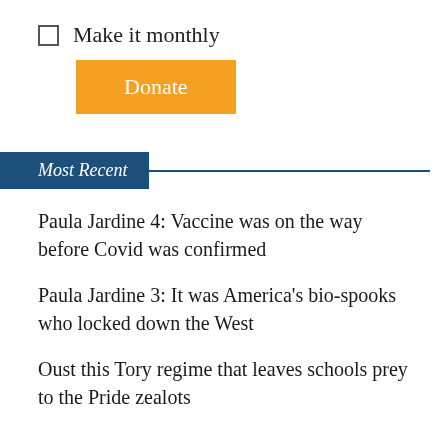Make it monthly
Donate
Most Recent
Paula Jardine 4: Vaccine was on the way before Covid was confirmed
Paula Jardine 3: It was America's bio-spooks who locked down the West
Oust this Tory regime that leaves schools prey to the Pride zealots